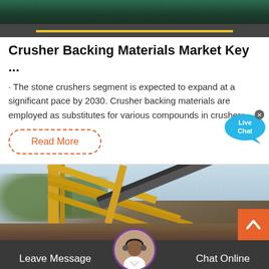[Figure (photo): Top portion of a dark road/tarmac scene with a yellow line, green background, screenshot from a webpage]
Crusher Backing Materials Market Key ...
· The stone crushers segment is expected to expand at a significant pace by 2030. Crusher backing materials are employed as substitutes for various compounds in crushers
Read More
[Figure (photo): Industrial yellow crane/conveyor structure with trees in background, construction/mining machinery]
Leave Message
Chat Online